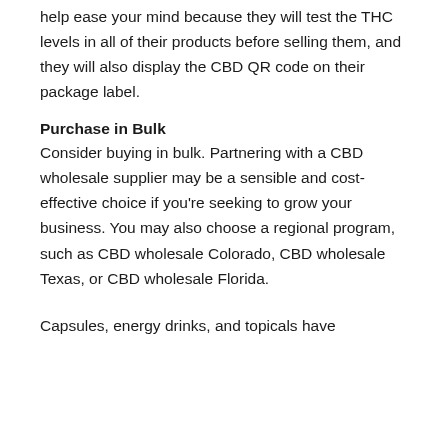help ease your mind because they will test the THC levels in all of their products before selling them, and they will also display the CBD QR code on their package label.
Purchase in Bulk
Consider buying in bulk. Partnering with a CBD wholesale supplier may be a sensible and cost-effective choice if you're seeking to grow your business. You may also choose a regional program, such as CBD wholesale Colorado, CBD wholesale Texas, or CBD wholesale Florida.
Capsules, energy drinks, and topicals have